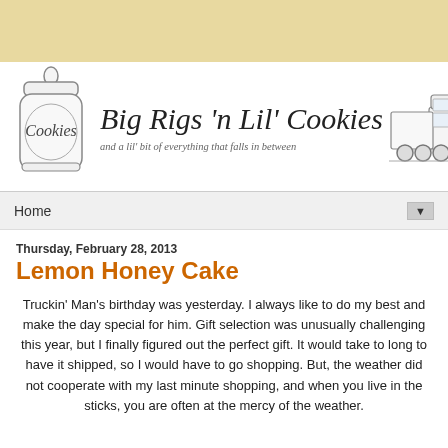[Figure (illustration): Blog header banner with cookie jar illustration on left, script text 'Big Rigs n Lil Cookies' and subtitle 'and a lil bit of everything that falls in between' in center, and big rig truck illustration on right. Tan/beige background at top.]
Home
Thursday, February 28, 2013
Lemon Honey Cake
Truckin' Man's birthday was yesterday. I always like to do my best and make the day special for him. Gift selection was unusually challenging this year, but I finally figured out the perfect gift. It would take to long to have it shipped, so I would have to go shopping. But, the weather did not cooperate with my last minute shopping, and when you live in the sticks, you are often at the mercy of the weather.